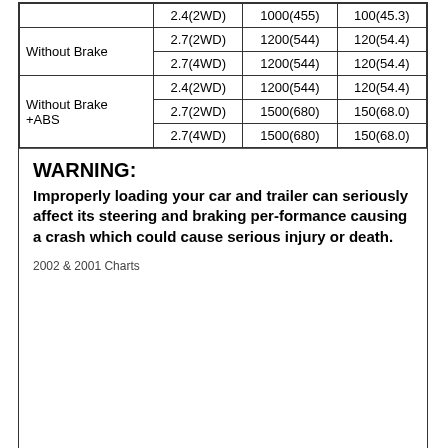|  |  |  |  |
| --- | --- | --- | --- |
|  | 2.4(2WD) | 1000(455) | 100(45.3) |
| Without Brake | 2.7(2WD) | 1200(544) | 120(54.4) |
|  | 2.7(4WD) | 1200(544) | 120(54.4) |
|  | 2.4(2WD) | 1200(544) | 120(54.4) |
| Without Brake +ABS | 2.7(2WD) | 1500(680) | 150(68.0) |
|  | 2.7(4WD) | 1500(680) | 150(68.0) |
WARNING: Improperly loading your car and trailer can seriously affect its steering and braking performance causing a crash which could cause serious injury or death.
2002 & 2001 Charts